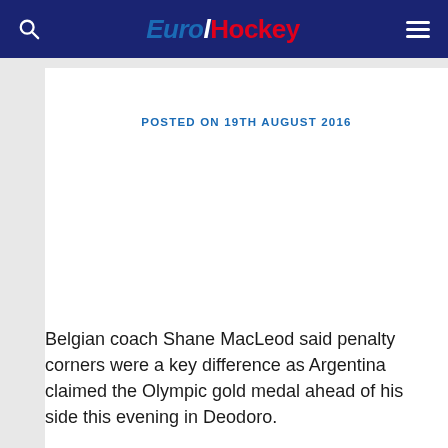EuroHockey
POSTED ON 19TH AUGUST 2016
Belgian coach Shane MacLeod said penalty corners were a key difference as Argentina claimed the Olympic gold medal ahead of his side this evening in Deodoro.